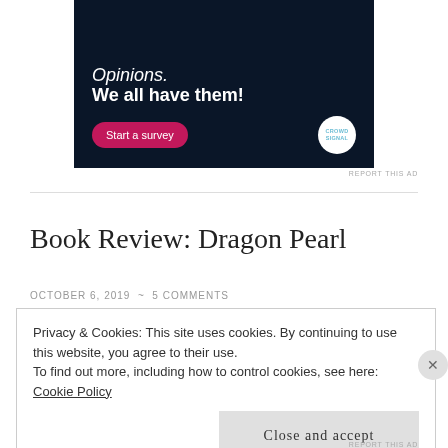[Figure (illustration): Dark navy advertisement banner for Crowdsignal survey tool with text 'Opinions. We all have them!' and a pink 'Start a survey' button and Crowdsignal circular logo]
REPORT THIS AD
Book Review: Dragon Pearl
OCTOBER 6, 2019  ~  5 COMMENTS
Privacy & Cookies: This site uses cookies. By continuing to use this website, you agree to their use.
To find out more, including how to control cookies, see here: Cookie Policy
Close and accept
REPORT THIS AD